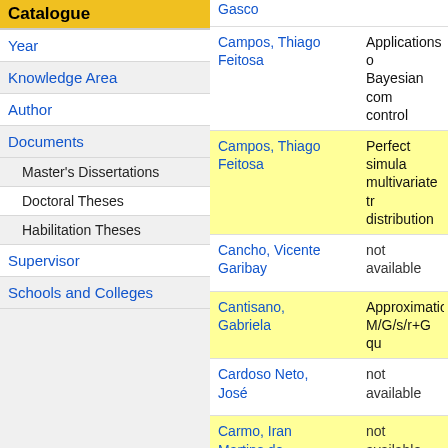Catalogue
Year
Knowledge Area
Author
Documents
Master's Dissertations
Doctoral Theses
Habilitation Theses
Supervisor
Schools and Colleges
| Author | Title |
| --- | --- |
| Gasco |  |
| Campos, Thiago Feitosa | Applications o... Bayesian com... control |
| Campos, Thiago Feitosa | Perfect simula... multivariate tr... distribution |
| Cancho, Vicente Garibay | not available |
| Cantisano, Gabriela | Approximatio... M/G/s/r+G qu... |
| Cardoso Neto, José | not available |
| Carmo, Iran Martins do | not available |
| Carneiro, Hérica Priscila de Araújo | Improvement... methods for t... distribution |